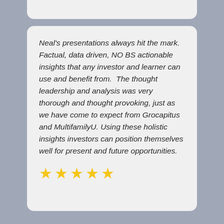Neal's presentations always hit the mark. Factual, data driven, NO BS actionable insights that any investor and learner can use and benefit from.  The thought leadership and analysis was very thorough and thought provoking, just as we have come to expect from Grocapitus and MultifamilyU. Using these holistic insights investors can position themselves well for present and future opportunities.
[Figure (illustration): Five gold/yellow star rating icons displayed in a row]